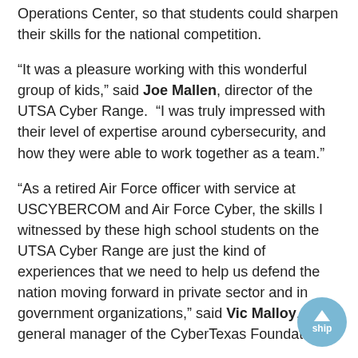Operations Center, so that students could sharpen their skills for the national competition.
“It was a pleasure working with this wonderful group of kids,” said Joe Mallen, director of the UTSA Cyber Range. “I was truly impressed with their level of expertise around cybersecurity, and how they were able to work together as a team.”
“As a retired Air Force officer with service at USCYBERCOM and Air Force Cyber, the skills I witnessed by these high school students on the UTSA Cyber Range are just the kind of experiences that we need to help us defend the nation moving forward in private sector and in government organizations,” said Vic Malloy, general manager of the CyberTexas Foundation.
The UTSA Cyber Range, which was created in partnership with Cyber Range Solutions Inc. (CRS), utilizes Cyberbit